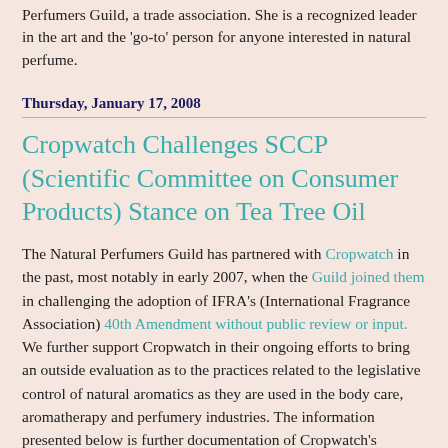Perfumers Guild, a trade association. She is a recognized leader in the art and the 'go-to' person for anyone interested in natural perfume.
Thursday, January 17, 2008
Cropwatch Challenges SCCP (Scientific Committee on Consumer Products) Stance on Tea Tree Oil
The Natural Perfumers Guild has partnered with Cropwatch in the past, most notably in early 2007, when the Guild joined them in challenging the adoption of IFRA's (International Fragrance Association) 40th Amendment without public review or input. We further support Cropwatch in their ongoing efforts to bring an outside evaluation as to the practices related to the legislative control of natural aromatics as they are used in the body care, aromatherapy and perfumery industries. The information presented below is further documentation of Cropwatch's ongoing efforts: